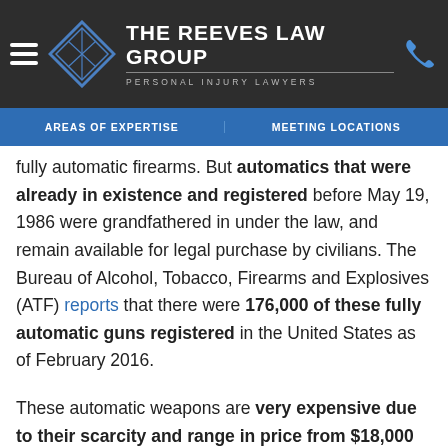THE REEVES LAW GROUP — PERSONAL INJURY LAWYERS
AREAS OF EXPERTISE | MEETING LOCATIONS
fully automatic firearms. But automatics that were already in existence and registered before May 19, 1986 were grandfathered in under the law, and remain available for legal purchase by civilians. The Bureau of Alcohol, Tobacco, Firearms and Explosives (ATF) reports that there were 176,000 of these fully automatic guns registered in the United States as of February 2016.
These automatic weapons are very expensive due to their scarcity and range in price from $18,000 and